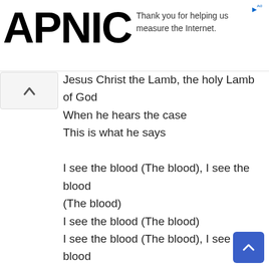[Figure (logo): APNIC logo in large bold black text on white background with ad text: 'Thank you for helping us measure the Internet.']
Jesus Christ the Lamb, the holy Lamb of God
When he hears the case
This is what he says

I see the blood (The blood), I see the blood (The blood)
I see the blood (The blood)
I see the blood (The blood), I see the blood (The blood)
My precious blood (The blood)
I see the blood (The blood), I see the blood (The blood)
Eternal saving blood (The blood)

You don't have to cry, I have paid the price